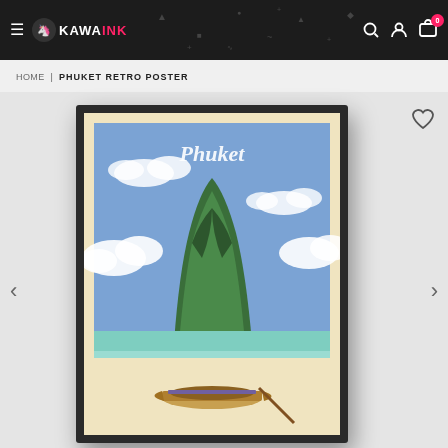KAWAINK — Navigation bar with logo, hamburger menu, search, account, and cart icons
HOME | PHUKET RETRO POSTER
[Figure (photo): Product page showing a framed Phuket retro travel poster. The poster depicts a tropical island scene with a large green limestone rock formation rising from turquoise water, a traditional longtail boat in the foreground, white clouds, and a blue sky. The word 'Phuket' is written in cursive at the top of the poster. The poster is shown in a dark/black frame angled slightly. Navigation arrows (< >) appear on either side, and a heart/wishlist icon is visible in the top-right area.]